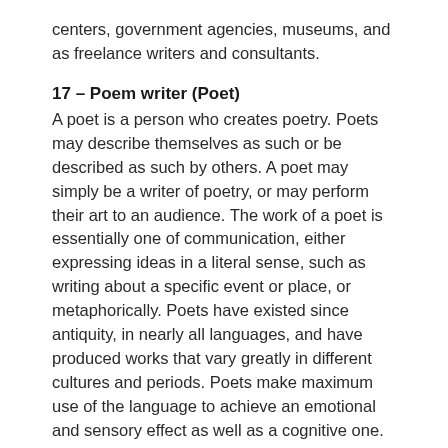centers, government agencies, museums, and as freelance writers and consultants.
17 – Poem writer (Poet)
A poet is a person who creates poetry. Poets may describe themselves as such or be described as such by others. A poet may simply be a writer of poetry, or may perform their art to an audience. The work of a poet is essentially one of communication, either expressing ideas in a literal sense, such as writing about a specific event or place, or metaphorically. Poets have existed since antiquity, in nearly all languages, and have produced works that vary greatly in different cultures and periods. Poets make maximum use of the language to achieve an emotional and sensory effect as well as a cognitive one.
18 – Journalist
A Journalist writes reports about current events after investigating them and gathering information. Some